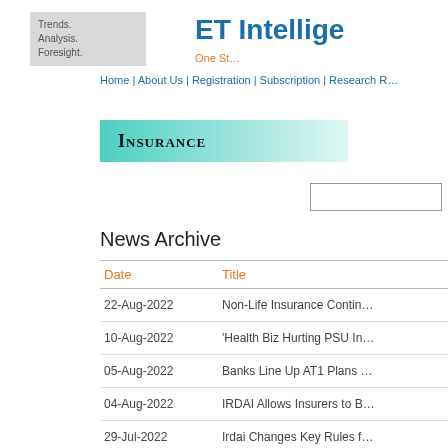Trends. Analysis. Foresight.
ET Intelligence Group — One St…
Home | About Us | Registration | Subscription | Research R…
Insurance
News Archive
| Date | Title |
| --- | --- |
| 22-Aug-2022 | Non-Life Insurance Contin… |
| 10-Aug-2022 | 'Health Biz Hurting PSU In… |
| 05-Aug-2022 | Banks Line Up AT1 Plans … |
| 04-Aug-2022 | IRDAI Allows Insurers to B… |
| 29-Jul-2022 | Irdai Changes Key Rules f… |